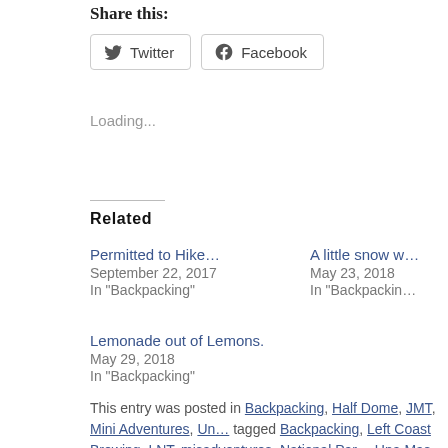Share this:
Twitter  Facebook
Loading...
Related
Permitted to Hike…
September 22, 2017
In "Backpacking"
A little snow w…
May 23, 2018
In "Backpackin…"
Lemonade out of Lemons.
May 29, 2018
In "Backpacking"
This entry was posted in Backpacking, Half Dome, JMT, Mini Adventures, Un… tagged Backpacking, Left Coast Brewing, LNT, misadventures, National Par… Una Mas Beer, Yosemite. Bookmark the permalink.